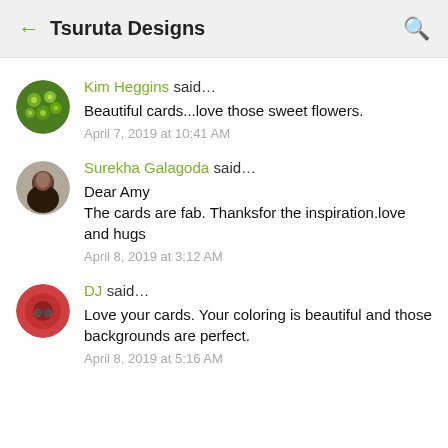← Tsuruta Designs 🔍
Kim Heggins said… Beautiful cards...love those sweet flowers. April 7, 2019 at 10:41 AM
Surekha Galagoda said… Dear Amy The cards are fab. Thanksfor the inspiration.love and hugs April 8, 2019 at 3:12 AM
DJ said… Love your cards. Your coloring is beautiful and those backgrounds are perfect. April 8, 2019 at 5:16 AM